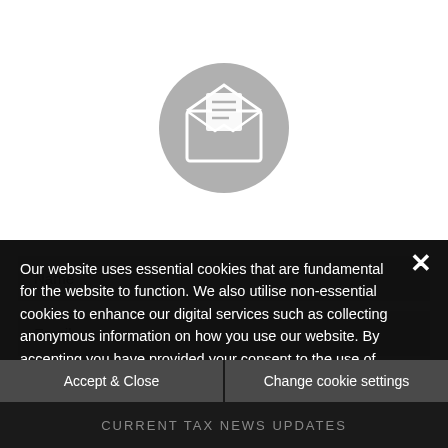[Figure (illustration): Gray circle icon with an open envelope containing a document/newsletter]
Name
Email
Our website uses essential cookies that are fundamental for the website to function. We also utilise non-essential cookies to enhance our digital services such as collecting anonymous information on how you use our website. By accepting you have provided your consent to the use of non-essential cookies. If you would like to change this, please click on 'Change cookie settings'.
Accept & Close
Change cookie settings
CURRENT TAX NEWS UPDATES